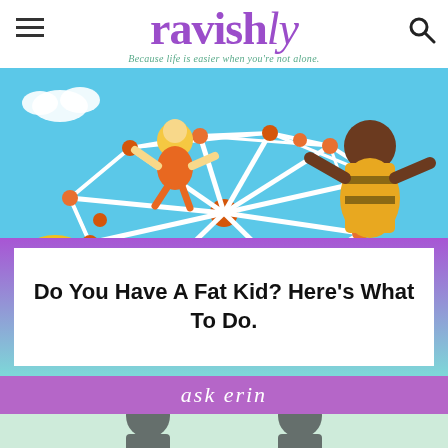ravishly — Because life is easier when you're not alone.
[Figure (illustration): Colorful cartoon illustration of children playing on a jungle gym/dome climber against a blue sky background. Children in orange and brown clothing are climbing the geodesic dome structure. Yellow bushes in the lower left.]
Do You Have A Fat Kid? Here's What To Do.
ask erin
[Figure (illustration): Bottom portion of an 'ask erin' illustrated banner with light green and pink background showing two illustrated figures with dark hair.]